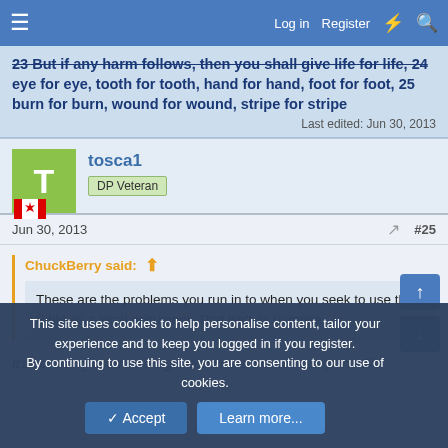Log in  Register
23 But if any harm follows, then you shall give life for life, 24 eye for eye, tooth for tooth, hand for hand, foot for foot, 25 burn for burn, wound for wound, stripe for stripe
Last edited: Jun 30, 2013
tosca1
DP Veteran
Jun 30, 2013  #25
ChuckBerry said:
These are the problems you run in to when you seek to use the Bible as a legal document. That isn't its purpose.
It's not being used as a legal document, but obviously, the Bibl
This site uses cookies to help personalise content, tailor your experience and to keep you logged in if you register.
By continuing to use this site, you are consenting to our use of cookies.